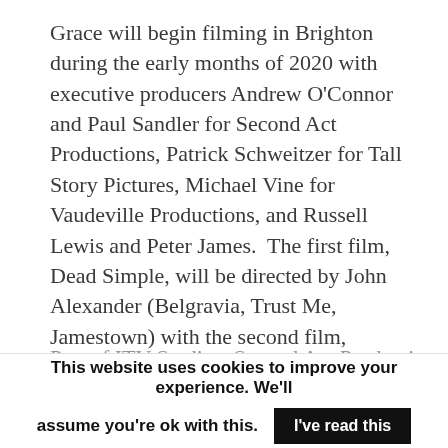Grace will begin filming in Brighton during the early months of 2020 with executive producers Andrew O'Connor and Paul Sandler for Second Act Productions, Patrick Schweitzer for Tall Story Pictures, Michael Vine for Vaudeville Productions, and Russell Lewis and Peter James.  The first film, Dead Simple, will be directed by John Alexander (Belgravia, Trust Me, Jamestown) with the second film, Looking Good Dead, directed by Julia Ford (Sticks and Stones, The Bay II, Safe).
Part of ITV Studios, Second Act Productions
This website uses cookies to improve your experience. We'll assume you're ok with this.  I've read this